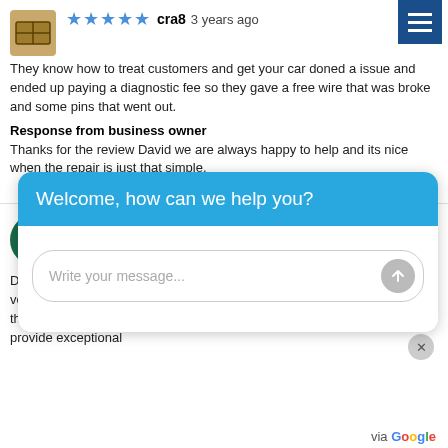[Figure (illustration): Wooden crate avatar thumbnail]
★★★★★ cra8 3 years ago
They know how to treat customers and get your car do[ne]d a issue and ended up paying a diagnostic fee so they g[ave] a free wire that was broke and some pins that went out.
Response from business owner
Thanks for the review David we are always happy to help and its nice when the repair is just that simple.
via Google
[Figure (illustration): Green circle avatar with letter L]
★★★★★ Lisa White 3 years ago
Dirks is an honest automotive shop and was really quick to get my son's vehicle running again on not one occasion but twice. I would recommend them to anyone that has a big or small job to be done as not only do they provide exceptional
[Figure (screenshot): Chat widget overlay with 'Welcome, how can we help you?' header and message input field]
via Google